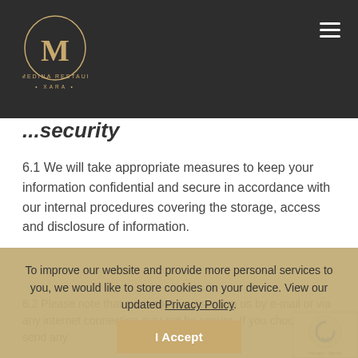[Figure (logo): The Medina Restaurant Xara logo — gold M emblem above text THE MEDINA RESTAURANT with XARA below]
...security
6.1 We will take appropriate measures to keep your information confidential and secure in accordance with our internal procedures covering the storage, access and disclosure of information.
6.2 Please note that messages you send to us by e-mail or via any internet connection may not be secure. If you choose to send any
To improve our website and provide more personal services to you, we would like to store cookies on your device. View our updated Privacy Policy.
I Accept